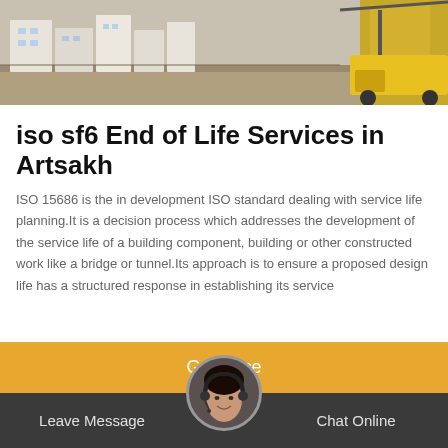[Figure (photo): Construction site photo showing buildings and yellow crane/equipment on the right side]
iso sf6 End of Life Services in Artsakh
ISO 15686 is the in development ISO standard dealing with service life planning.It is a decision process which addresses the development of the service life of a building component, building or other constructed work like a bridge or tunnel.Its approach is to ensure a proposed design life has a structured response in establishing its service
Get Price
Leave Message
Chat Online